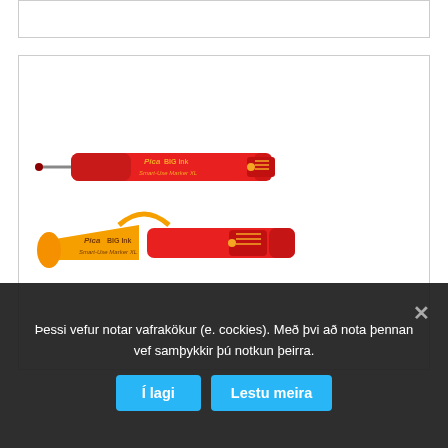[Figure (photo): Two Pica BIG Ink Smart-Use Marker XL pens: one red marker shown assembled/extended, and one shown with orange cap separated from red body]
Þessi vefur notar vafrakökur (e. cockies). Með þvi að nota þennan vef samþykkir þú notkun þeirra.
Í lagi
Lestu meira